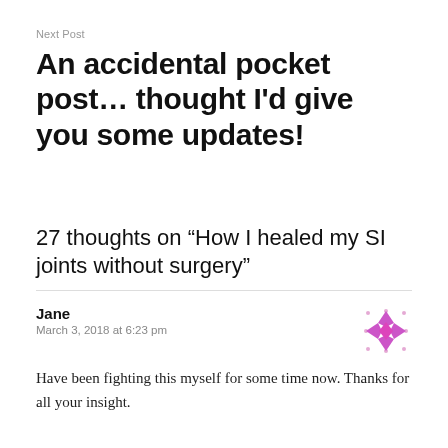Next Post
An accidental pocket post… thought I’d give you some updates!
27 thoughts on “How I healed my SI joints without surgery”
Jane
March 3, 2018 at 6:23 pm
Have been fighting this myself for some time now. Thanks for all your insight.